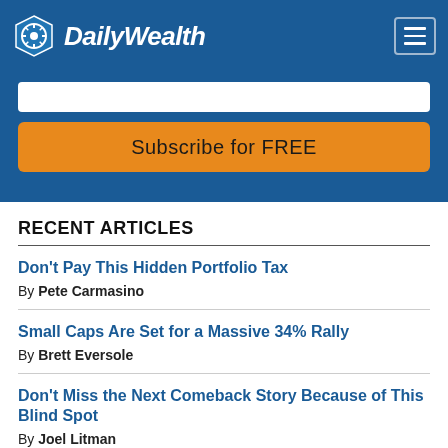[Figure (logo): DailyWealth logo with hexagon icon and bold italic text on blue header bar]
[Figure (screenshot): Email input field and orange Subscribe for FREE button on blue background]
RECENT ARTICLES
Don't Pay This Hidden Portfolio Tax
By Pete Carmasino
Small Caps Are Set for a Massive 34% Rally
By Brett Eversole
Don't Miss the Next Comeback Story Because of This Blind Spot
By Joel Litman
Finding the Winners on Wall Street (Blacklist the...